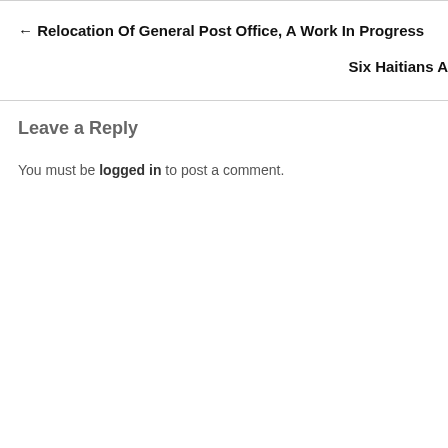← Relocation Of General Post Office, A Work In Progress
Six Haitians A
Leave a Reply
You must be logged in to post a comment.